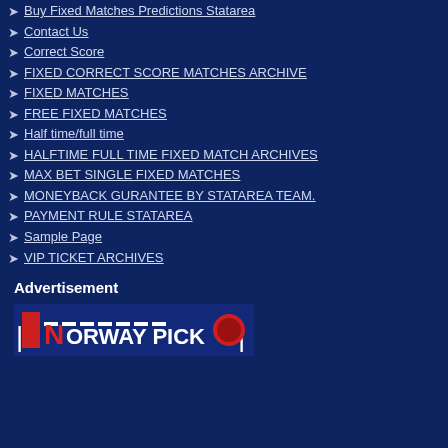Buy Fixed Matches Predictions Statarea
Contact Us
Correct Score
FIXED CORRECT SCORE MATCHES ARCHIVE
FIXED MATCHES
FREE FIXED MATCHES
Half time/full time
HALFTIME FULL TIME FIXED MATCH ARCHIVES
MAX BET SINGLE FIXED MATCHES
MONEYBACK GURANTEE BY STATAREA TEAM.
PAYMENT RULE STATAREA
Sample Page
VIP TICKET ARCHIVES
Advertisement
[Figure (illustration): Norway Pick advertisement banner showing partial text 'NORWAY PICK' with flag/logo elements on dark blue background]